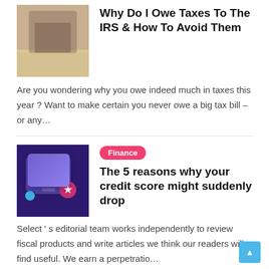[Figure (photo): Person crouching near sand, wearing jeans, viewed from waist down]
Why Do I Owe Taxes To The IRS & How To Avoid Them
Are you wondering why you owe indeed much in taxes this year ? Want to make certain you never owe a big tax bill – or any...
[Figure (illustration): 3D illustration of a laptop with financial/credit related icons on purple background]
Finance
The 5 reasons why your credit score might suddenly drop
Select ' s editorial team works independently to review fiscal products and write articles we think our readers will find useful. We earn a perpetratio...